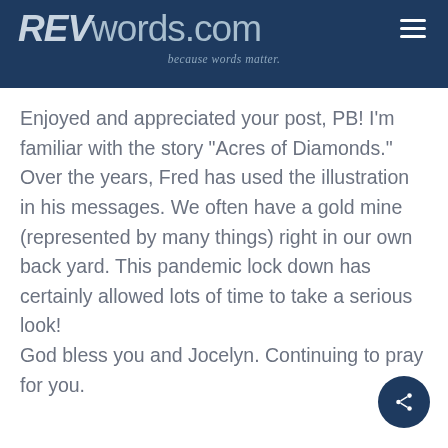REVwords.com — because words matter.
Enjoyed and appreciated your post, PB! I'm familiar with the story "Acres of Diamonds." Over the years, Fred has used the illustration in his messages. We often have a gold mine (represented by many things) right in our own back yard. This pandemic lock down has certainly allowed lots of time to take a serious look!
God bless you and Jocelyn. Continuing to pray for you.